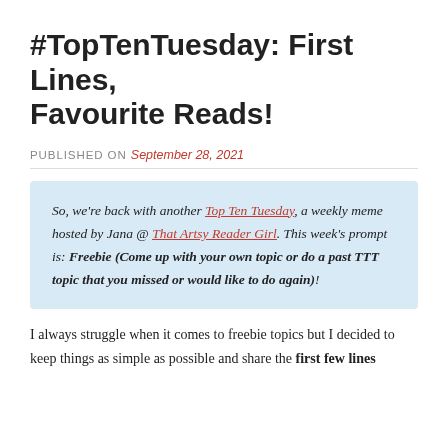#TopTenTuesday: First Lines, Favourite Reads!
PUBLISHED ON September 28, 2021
So, we're back with another Top Ten Tuesday, a weekly meme hosted by Jana @ That Artsy Reader Girl. This week's prompt is: Freebie (Come up with your own topic or do a past TTT topic that you missed or would like to do again)!
I always struggle when it comes to freebie topics but I decided to keep things as simple as possible and share the first few lines